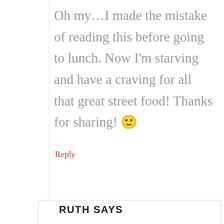Oh my…I made the mistake of reading this before going to lunch. Now I'm starving and have a craving for all that great street food! Thanks for sharing! 🙂
Reply
RUTH SAYS